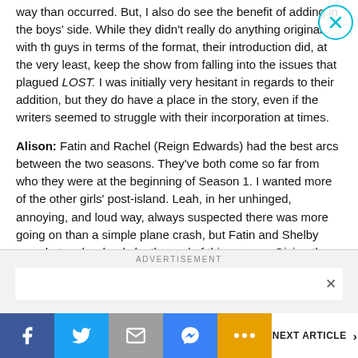way than occurred. But, I also do see the benefit of adding in the boys' side. While they didn't really do anything original with the guys in terms of the format, their introduction did, at the very least, keep the show from falling into the issues that plagued LOST. I was initially very hesitant in regards to their addition, but they do have a place in the story, even if the writers seemed to struggle with their incorporation at times.
Alison: Fatin and Rachel (Reign Edwards) had the best arcs between the two seasons. They've both come so far from who they were at the beginning of Season 1. I wanted more of the other girls' post-island. Leah, in her unhinged, annoying, and loud way, always suspected there was more going on than a simple plane crash, but Fatin and Shelby were hot on her heels by the end of this season. Giving them more to do would have made sense for the story. Without a divided story, I'm sure the girls would have started to test the boundaries of their faux prison. Also, when is the Rachel-Nora reunion coming?
ADVERTISEMENT
NEXT ARTICLE >